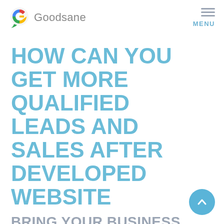Goodsane  MENU
HOW CAN YOU GET MORE QUALIFIED LEADS AND SALES AFTER DEVELOPED WEBSITE
BRING YOUR BUSINESS BACK WITH DIGITAL MARKETING SOLUTION